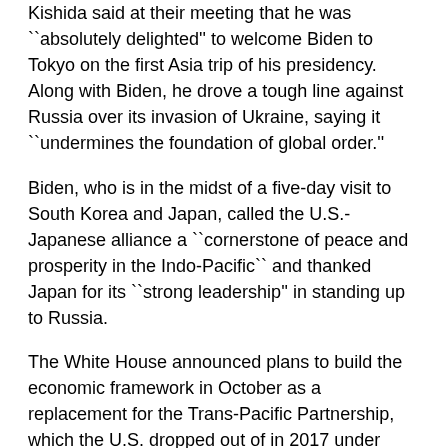Kishida said at their meeting that he was ``absolutely delighted'' to welcome Biden to Tokyo on the first Asia trip of his presidency. Along with Biden, he drove a tough line against Russia over its invasion of Ukraine, saying it ``undermines the foundation of global order.''
Biden, who is in the midst of a five-day visit to South Korea and Japan, called the U.S.-Japanese alliance a ``cornerstone of peace and prosperity in the Indo-Pacific`` and thanked Japan for its ``strong leadership'' in standing up to Russia.
The White House announced plans to build the economic framework in October as a replacement for the Trans-Pacific Partnership, which the U.S. dropped out of in 2017 under then-President Donald Trump.
Kishida, while welcoming the new Biden trade pact, said he hoped Biden would reconsider the United States' position on TPP.
``Our position remains unchanged,'' Kishida said. ``We